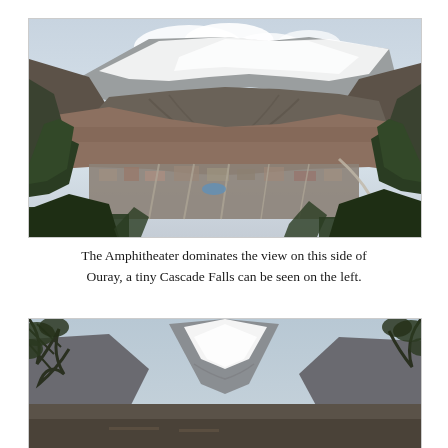[Figure (photo): Aerial/elevated view of Ouray, Colorado, a small mountain town surrounded by steep rocky mountains with snow-capped peaks. The Amphitheater formation dominates the background. Green trees frame the foreground and sides. The town's grid of streets and buildings is visible in the valley below.]
The Amphitheater dominates the view on this side of Ouray, a tiny Cascade Falls can be seen on the left.
[Figure (photo): Partial view of a mountain peak with snow, seen through tree branches in the foreground. Rocky mountain scenery, similar setting to the image above.]